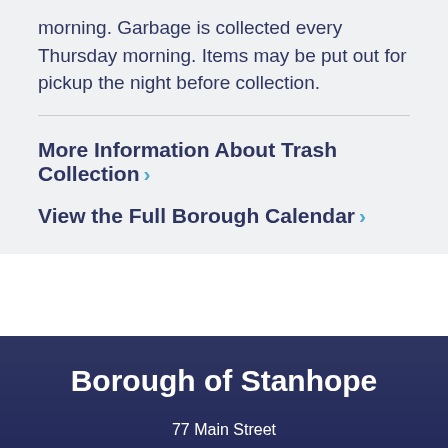morning. Garbage is collected every Thursday morning. Items may be put out for pickup the night before collection.
More Information About Trash Collection ›
View the Full Borough Calendar ›
Borough of Stanhope
77 Main Street
Stanhope, NJ 07874
Monday - Friday 8:30 AM to 4:30 PM